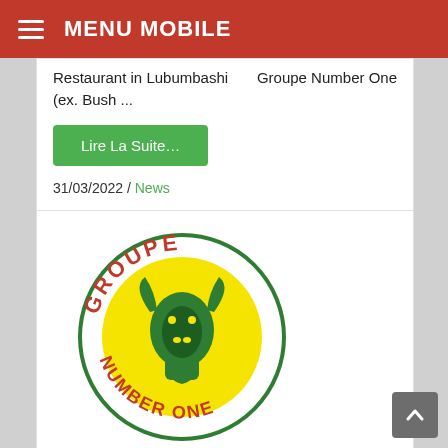MENU MOBILE
Groupe Number One Restaurant in Lubumbashi (ex. Bush ...
Lire La Suite...
31/03/2022 / News
[Figure (logo): Groupe Number One circular logo with red text 'GROUPE' at top and 'NUMBER ONE' at bottom, green cobra/bull head on yellow circle background, surrounded by a green border circle.]